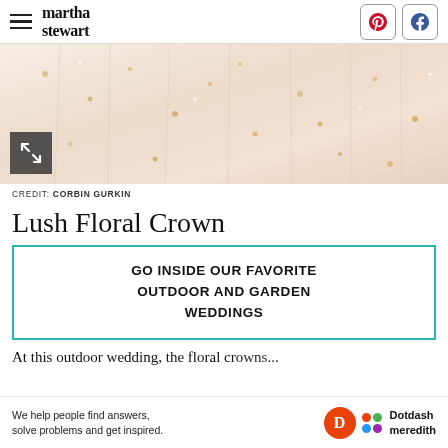martha stewart
[Figure (photo): Close-up of a bridal veil or dress fabric in blush/cream with scattered gold dot embellishments, soft focus]
CREDIT: CORBIN GURKIN
Lush Floral Crown
GO INSIDE OUR FAVORITE OUTDOOR AND GARDEN WEDDINGS
At this outdoor wedding, the floral crowns...
[Figure (infographic): Dotdash Meredith advertisement banner: We help people find answers, solve problems and get inspired.]